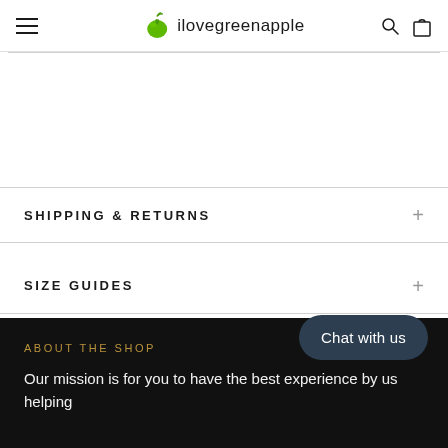ilovegreenapple
SHIPPING & RETURNS
SIZE GUIDES
ABOUT THE SHOP
Our mission is for you to have the best experience by us helping
Chat with us